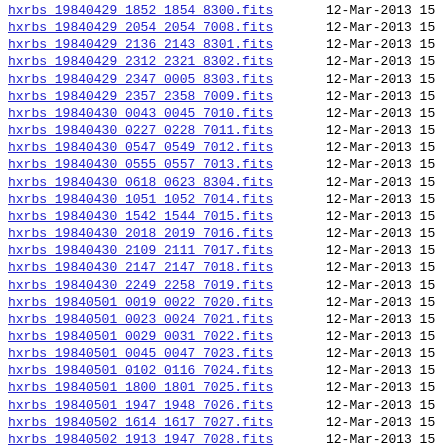hxrbs 19840429 1852 1854 8300.fits  12-Mar-2013 15
hxrbs 19840429 2054 2054 7008.fits  12-Mar-2013 15
hxrbs 19840429 2136 2143 8301.fits  12-Mar-2013 15
hxrbs 19840429 2312 2321 8302.fits  12-Mar-2013 15
hxrbs 19840429 2347 0005 8303.fits  12-Mar-2013 15
hxrbs 19840429 2357 2358 7009.fits  12-Mar-2013 15
hxrbs 19840430 0043 0045 7010.fits  12-Mar-2013 15
hxrbs 19840430 0227 0228 7011.fits  12-Mar-2013 15
hxrbs 19840430 0547 0549 7012.fits  12-Mar-2013 15
hxrbs 19840430 0555 0557 7013.fits  12-Mar-2013 15
hxrbs 19840430 0618 0623 8304.fits  12-Mar-2013 15
hxrbs 19840430 1051 1052 7014.fits  12-Mar-2013 15
hxrbs 19840430 1542 1544 7015.fits  12-Mar-2013 15
hxrbs 19840430 2018 2019 7016.fits  12-Mar-2013 15
hxrbs 19840430 2109 2111 7017.fits  12-Mar-2013 15
hxrbs 19840430 2147 2147 7018.fits  12-Mar-2013 15
hxrbs 19840430 2249 2258 7019.fits  12-Mar-2013 15
hxrbs 19840501 0019 0022 7020.fits  12-Mar-2013 15
hxrbs 19840501 0023 0024 7021.fits  12-Mar-2013 15
hxrbs 19840501 0029 0031 7022.fits  12-Mar-2013 15
hxrbs 19840501 0045 0047 7023.fits  12-Mar-2013 15
hxrbs 19840501 0102 0116 7024.fits  12-Mar-2013 15
hxrbs 19840501 1800 1801 7025.fits  12-Mar-2013 15
hxrbs 19840501 1947 1948 7026.fits  12-Mar-2013 15
hxrbs 19840502 1614 1617 7027.fits  12-Mar-2013 15
hxrbs 19840502 1913 1947 7028.fits  12-Mar-2013 15
hxrbs 19840502 2241 2242 7029.fits  12-Mar-2013 15
hxrbs 19840503 0023 0025 7030.fits  12-Mar-2013 15
hxrbs 19840503 0115 0117 7031.fits  12-Mar-2013 15
hxrbs 19840503 0141 0142 7032.fits  12-Mar-2013 15